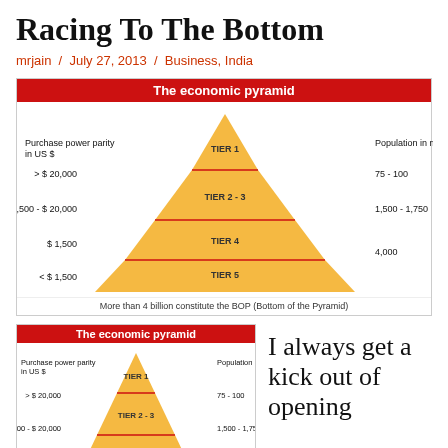Racing To The Bottom
mrjain / July 27, 2013 / Business, India
[Figure (infographic): The economic pyramid infographic showing tiers by purchase power parity in US$ and population in millions. Tier 1: >$20,000, 75-100M; Tier 2-3: $1,500-$20,000, 1,500-1,750M; Tier 4: $1,500, 4,000M; Tier 5: <$1,500. More than 4 billion constitute the BOP (Bottom of the Pyramid).]
[Figure (infographic): Smaller version of the economic pyramid infographic (partial view) showing Tier 1 >$20,000 75-100, Tier 2-3 $1,500-$20,000 1,500-1,750.]
I always get a kick out of opening